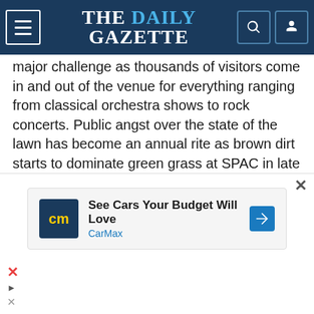THE DAILY GAZETTE
major challenge as thousands of visitors come in and out of the venue for everything ranging from classical orchestra shows to rock concerts. Public angst over the state of the lawn has become an annual rite as brown dirt starts to dominate green grass at SPAC in late summer.
One SPAC visitor last week posted a picture of a couple in front of them that set up their table and chairs on a chunk of synthetic turf they apparently brought for the show. “When the lawn is gone at SPAC, the only thing left to do is bring your own lawn,” the concertgoer wrote on
[Figure (screenshot): CarMax advertisement banner: 'See Cars Your Budget Will Love' with CarMax logo and navigation arrow icon]